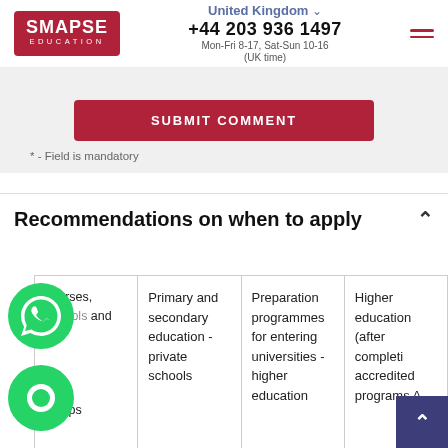SMAPSE EDUCATION | United Kingdom | +44 203 936 1497 | Mon-Fri 8-17, Sat-Sun 10-16 (UK time)
SUBMIT COMMENT
* - Field is mandatory
Recommendations on when to apply
|  | Primary and secondary education - private schools | Preparation programmes for entering universities - higher education | Higher education (after completing accredited programs A- |
| --- | --- | --- | --- |
| courses, schools and ... camps | Primary and secondary education - private schools | Preparation programmes for entering universities - higher education | Higher education (after completing accredited programs A- |